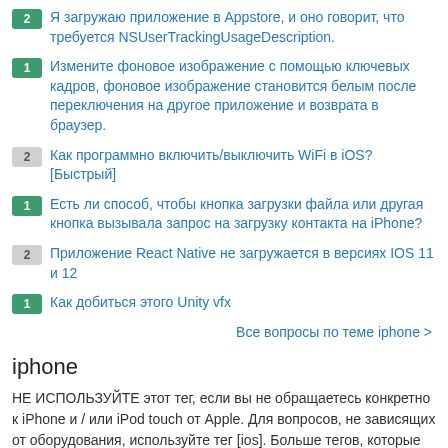2 Я загружаю приложение в Appstore, и оно говорит, что требуется NSUserTrackingUsageDescription.
1 Измените фоновое изображение с помощью ключевых кадров, фоновое изображение становится белым после переключения на другое приложение и возврата в браузер.
2 Как программно включить/выключить WiFi в iOS? [Быстрый]
1 Есть ли способ, чтобы кнопка загрузки файла или другая кнопка вызывала запрос на загрузку контакта на iPhone?
2 Приложение React Native не загружается в версиях IOS 11 и 12
1 Как добиться этого Unity vfx
Все вопросы по теме iphone >
iphone
НЕ ИСПОЛЬЗУЙТЕ этот тег, если вы не обращаетесь конкретно к iPhone и / или iPod touch от Apple. Для вопросов, не зависящих от оборудования, используйте тег [ios]. Больше тегов, которые нужно рассмотреть, это [xcode] (но только если вопрос касается самой IDE), [swift], [target-c] или [cocoa-touch] (но не [cocoa]).